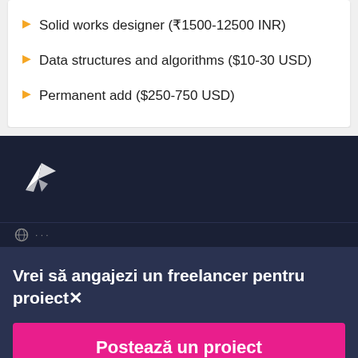Solid works designer (₹1500-12500 INR)
Data structures and algorithms ($10-30 USD)
Permanent add ($250-750 USD)
[Figure (logo): Freelancer bird/origami hummingbird logo in white on dark navy background]
Vrei să angajezi un freelancer pentru proiect✕
Postează un proiect